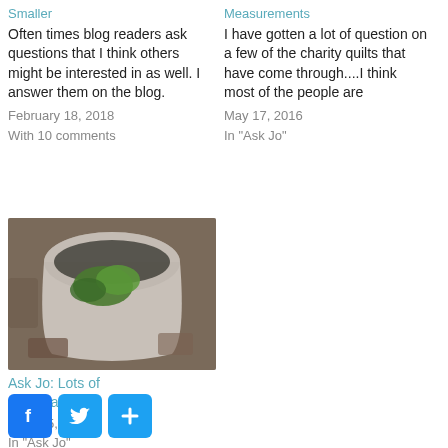Smaller
Often times blog readers ask questions that I think others might be interested in as well.  I answer them on the blog.
February 18, 2018
With 10 comments
Measurements
I have gotten a lot of question on a few of the charity quilts that have come through....I think most of the people are
May 17, 2016
In "Ask Jo"
[Figure (photo): A white or light-colored bucket/pot viewed from above, containing green plants or vegetables, with soil and other items visible around it.]
Ask Jo: Lots of Miscellaneous
June 25, 2014
In "Ask Jo"
[Figure (other): Social sharing buttons: Facebook (f), Twitter (bird), and a plus/share button, all in blue rounded squares.]